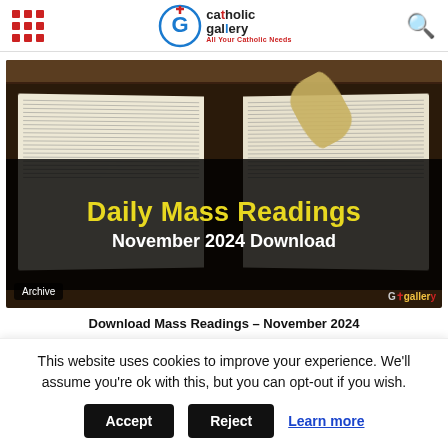Catholic Gallery – All Your Catholic Needs
[Figure (photo): Open Bible with a leaf on top, overlaid with a dark banner showing 'Daily Mass Readings November 2024 Download'. Bottom left has 'Archive' badge, bottom right has Catholic Gallery watermark logo.]
Download Mass Readings – November 2024
This website uses cookies to improve your experience. We'll assume you're ok with this, but you can opt-out if you wish.
Accept  Reject  Learn more